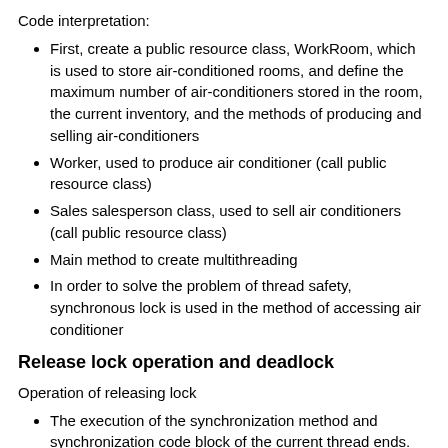Code interpretation:
First, create a public resource class, WorkRoom, which is used to store air-conditioned rooms, and define the maximum number of air-conditioners stored in the room, the current inventory, and the methods of producing and selling air-conditioners
Worker, used to produce air conditioner (call public resource class)
Sales salesperson class, used to sell air conditioners (call public resource class)
Main method to create multithreading
In order to solve the problem of thread safety, synchronous lock is used in the method of accessing air conditioner
Release lock operation and deadlock
Operation of releasing lock
The execution of the synchronization method and synchronization code block of the current thread ends.
The current thread has an unhandled Error or Exception in the synchronization code block and synchronization method.